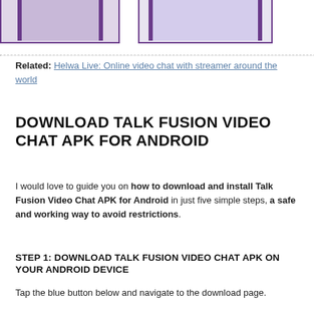[Figure (photo): Two cropped screenshot/photo thumbnails at top of page, both with purple borders on the sides]
Related: Helwa Live: Online video chat with streamer around the world
DOWNLOAD TALK FUSION VIDEO CHAT APK FOR ANDROID
I would love to guide you on how to download and install Talk Fusion Video Chat APK for Android in just five simple steps, a safe and working way to avoid restrictions.
STEP 1: DOWNLOAD TALK FUSION VIDEO CHAT APK ON YOUR ANDROID DEVICE
Tap the blue button below and navigate to the download page.